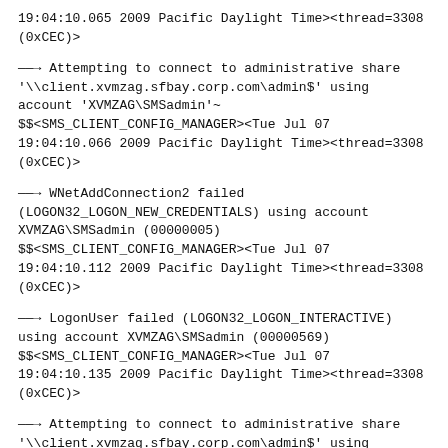19:04:10.065 2009 Pacific Daylight Time><thread=3308 (0xCEC)>
——→ Attempting to connect to administrative share '\\client.xvmzag.sfbay.corp.com\admin$' using account 'XVMZAG\SMSadmin'~ $$<SMS_CLIENT_CONFIG_MANAGER><Tue Jul 07 19:04:10.066 2009 Pacific Daylight Time><thread=3308 (0xCEC)>
——→ WNetAddConnection2 failed (LOGON32_LOGON_NEW_CREDENTIALS) using account XVMZAG\SMSadmin (00000005) $$<SMS_CLIENT_CONFIG_MANAGER><Tue Jul 07 19:04:10.112 2009 Pacific Daylight Time><thread=3308 (0xCEC)>
——→ LogonUser failed (LOGON32_LOGON_INTERACTIVE) using account XVMZAG\SMSadmin (00000569) $$<SMS_CLIENT_CONFIG_MANAGER><Tue Jul 07 19:04:10.135 2009 Pacific Daylight Time><thread=3308 (0xCEC)>
——→ Attempting to connect to administrative share '\\client.xvmzag.sfbay.corp.com\admin$' using machine account.~ $$<SMS_CLIENT_CONFIG_MANAGER><Tue Jul 07 19:04:10.136 2009 Pacific Daylight Time><thread=3308 (0xCEC)>